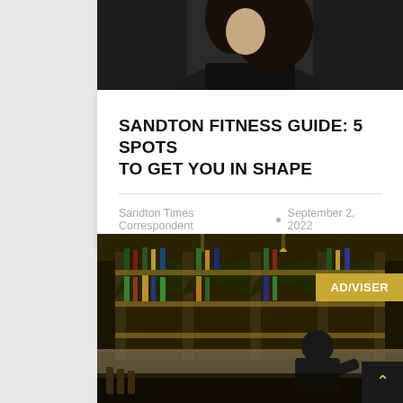[Figure (photo): Top portion of a woman in a black outfit, cropped to show shoulders and head with dark hair]
SANDTON FITNESS GUIDE: 5 SPOTS TO GET YOU IN SHAPE
Sandton Times Correspondent • September 2, 2022
[Figure (photo): Interior of a bar with illuminated shelves stocked with bottles. A bartender works behind the counter. An AD/VISER badge appears in the top right corner of the image.]